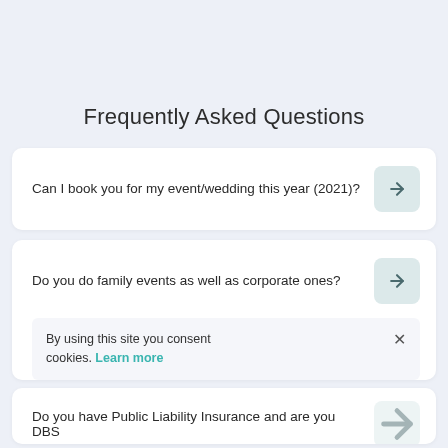Frequently Asked Questions
Can I book you for my event/wedding this year (2021)?
Do you do family events as well as corporate ones?
By using this site you consent cookies. Learn more
Do you have Public Liability Insurance and are you DBS